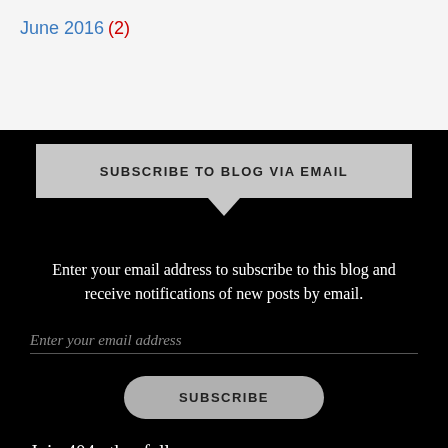June 2016 (2)
SUBSCRIBE TO BLOG VIA EMAIL
Enter your email address to subscribe to this blog and receive notifications of new posts by email.
Enter your email address
SUBSCRIBE
Join 404 other followers